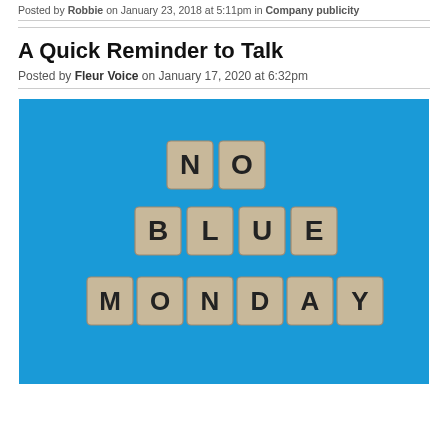Posted by Robbie on January 23, 2018 at 5:11pm in Company publicity
A Quick Reminder to Talk
Posted by Fleur Voice on January 17, 2020 at 6:32pm
[Figure (photo): Photo of wooden Scrabble tiles on a bright blue background spelling 'NO BLUE MONDAY' in three rows]